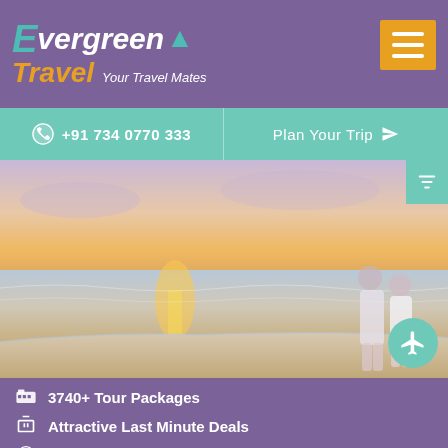[Figure (logo): Evergreen Travel logo with teal E, white 'vergreen', teal tree icon, orange 'Travel' text and white 'Your Travel Mates' tagline on purple background]
+91 734 0770 333
Plan Your Trip
[Figure (photo): Couple standing on beach at sunset, golden light reflecting on water, Evergreen Travel watermark overlay]
3740+ Tour Packages
Attractive Last Minute Deals
24x7 Travel Expert Advice